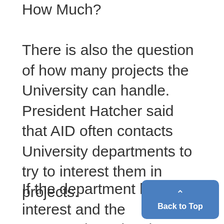How Much?
There is also the question of how many projects the University can handle. President Hatcher said that AID often contacts University departments to try to interest them in projects.
If the department has the interest and the personnel to take charge of the project, then the University tries to help "in every way possible."
The decision to take on a
[Figure (other): Back to Top button — a blue rounded rectangle with an upward chevron arrow and the text 'Back to Top']